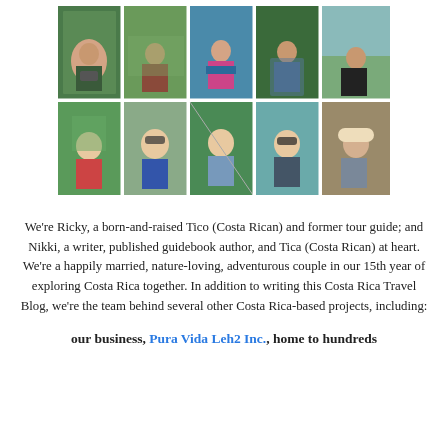[Figure (photo): A 5x2 grid collage of 10 photos showing various people in Costa Rica nature and outdoor settings — guides, couples, hikers with jungle, river, and mountain backgrounds.]
We're Ricky, a born-and-raised Tico (Costa Rican) and former tour guide; and Nikki, a writer, published guidebook author, and Tica (Costa Rican) at heart. We're a happily married, nature-loving, adventurous couple in our 15th year of exploring Costa Rica together. In addition to writing this Costa Rica Travel Blog, we're the team behind several other Costa Rica-based projects, including:
our business, Pura Vida Leh2 Inc., home to hundreds